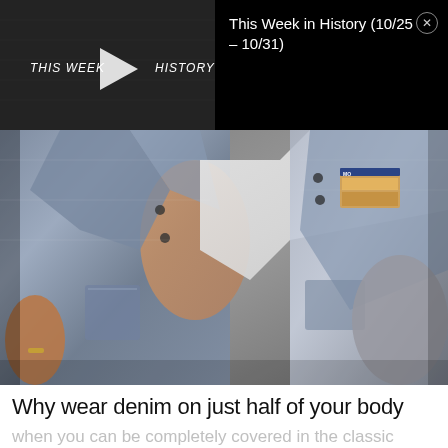[Figure (screenshot): Video thumbnail showing 'THIS WEEK IN HISTORY' text overlay with play button on dark background]
This Week in History (10/25 – 10/31)
[Figure (photo): Close-up photo of people wearing denim jackets and denim jeans, showing acid-washed and regular denim, with a visible Wrangler label on one jacket]
Why wear denim on just half of your body
when you can be completely covered in the classic cotton-based textile?